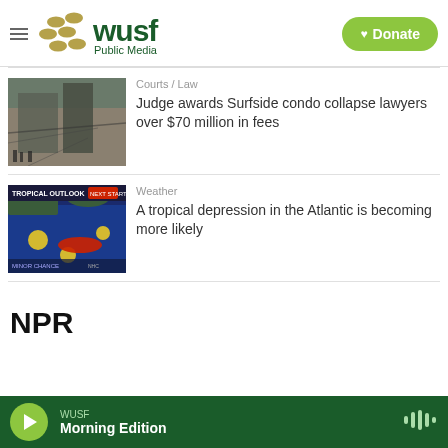[Figure (logo): WUSF Public Media logo with golden dot pattern and green text]
Donate
[Figure (photo): Aerial view of Surfside condo collapse rubble and damaged building structure]
Courts / Law
Judge awards Surfside condo collapse lawyers over $70 million in fees
[Figure (screenshot): Tropical outlook weather map showing tropical depression in Atlantic]
Weather
A tropical depression in the Atlantic is becoming more likely
NPR
WUSF Morning Edition